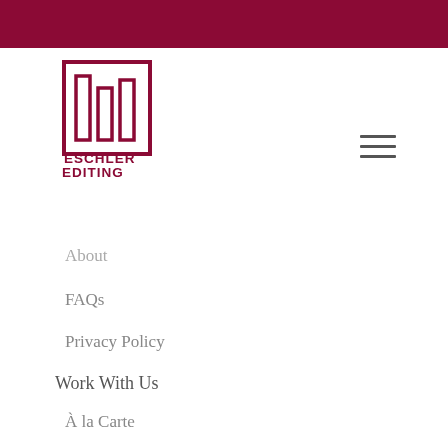[Figure (logo): Eschler Editing logo with stylized bookshelf/columns icon in dark red and text 'ESCHLER EDITING' in uppercase dark red serif letters]
About
FAQs
Privacy Policy
Work With Us
À la Carte
Nonfiction
Fiction & Poetry